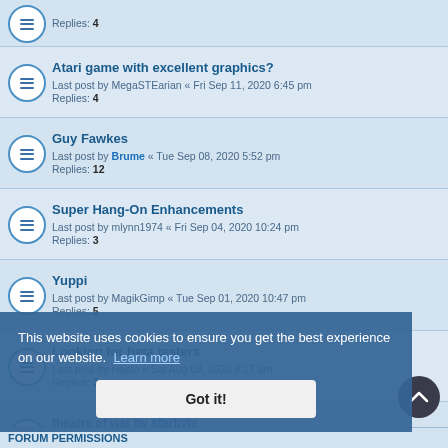Replies: 4
Atari game with excellent graphics?
Last post by MegaSTEarian « Fri Sep 11, 2020 6:45 pm
Replies: 4
Guy Fawkes
Last post by Brume « Tue Sep 08, 2020 5:52 pm
Replies: 12
Super Hang-On Enhancements
Last post by mlynn1974 « Fri Sep 04, 2020 10:24 pm
Replies: 3
Yuppi
Last post by MagikGimp « Tue Sep 01, 2020 10:47 pm
Replies: 5
Looking for beta testers
Last post by Haplo « Sat Aug 08, 2020 8:17 am
Replies: 3
theatre of war by starbyte
Last post by calimero « Wed Aug 05, 2020 3:10 pm
Replies: 4
New Topic  |  1491 topics  1 2 3 4 5 ... 30  Jump to
This website uses cookies to ensure you get the best experience on our website. Learn more
Got it!
FORUM PERMISSIONS